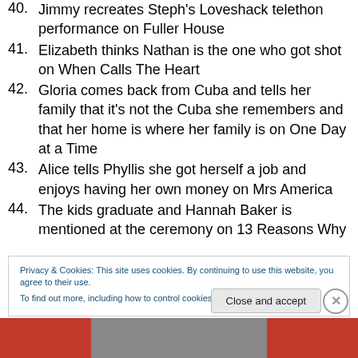40. Jimmy recreates Steph's Loveshack telethon performance on Fuller House
41. Elizabeth thinks Nathan is the one who got shot on When Calls The Heart
42. Gloria comes back from Cuba and tells her family that it's not the Cuba she remembers and that her home is where her family is on One Day at a Time
43. Alice tells Phyllis she got herself a job and enjoys having her own money on Mrs America
44. The kids graduate and Hannah Baker is mentioned at the ceremony on 13 Reasons Why
Privacy & Cookies: This site uses cookies. By continuing to use this website, you agree to their use. To find out more, including how to control cookies, see here: Cookie Policy
[Figure (screenshot): Close and accept button for cookie banner, and a partially visible image with red background at the bottom of the page]